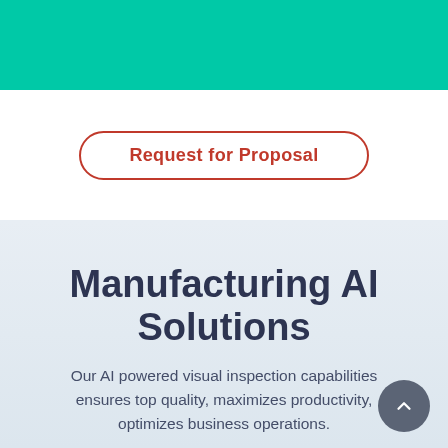[Figure (other): Teal/turquoise banner bar at the top of the page]
Request for Proposal
Manufacturing AI Solutions
Our AI powered visual inspection capabilities ensures top quality, maximizes productivity, optimizes business operations.